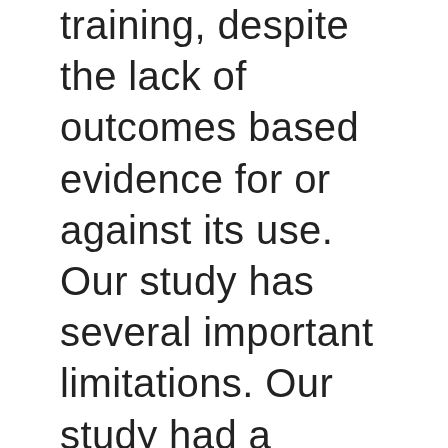training, despite the lack of outcomes based evidence for or against its use. Our study has several important limitations. Our study had a response rate of 46.4%, representing all respondents who submitted survey answers for analysis. The remainder of our study sample did not submit survey responses. Although there is